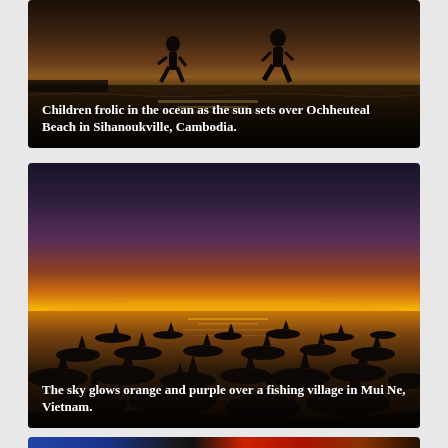[Figure (photo): Children silhouetted playing in the ocean waves at sunset on Ochheuteal Beach in Sihanoukville, Cambodia. Dark water reflecting golden light, two figures running.]
Children frolic in the ocean as the sun sets over Ochheuteal Beach in Sihanoukville, Cambodia.
[Figure (photo): Sunset over a fishing village in Mui Ne, Vietnam. The sky glows orange and purple near the horizon, fading to deep purple above. Many fishing boat silhouettes are scattered across the calm water in the foreground.]
The sky glows orange and purple over a fishing village in Mui Ne, Vietnam.
[Figure (photo): Partial view of a third photo at the bottom of the page, showing a colorful scene.]